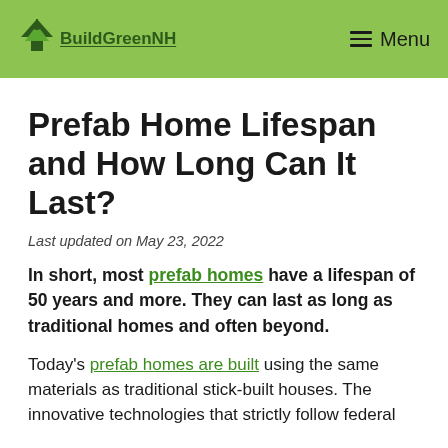BuildGreenNH | Menu
Prefab Home Lifespan and How Long Can It Last?
Last updated on May 23, 2022
In short, most prefab homes have a lifespan of 50 years and more. They can last as long as traditional homes and often beyond.
Today’s prefab homes are built using the same materials as traditional stick-built houses. The innovative technologies that strictly follow federal